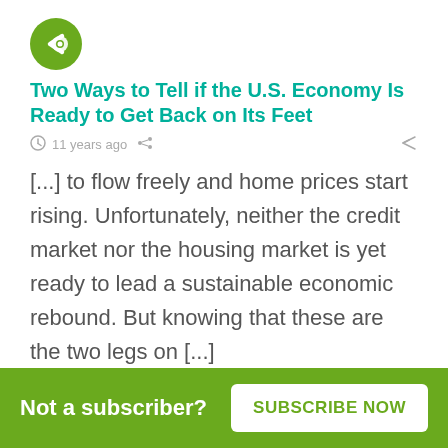[Figure (logo): Green circular logo with a white left-pointing chevron/arrow icon (Kiplinger or similar financial media brand)]
Two Ways to Tell if the U.S. Economy Is Ready to Get Back on Its Feet
11 years ago
[...] to flow freely and home prices start rising. Unfortunately, neither the credit market nor the housing market is yet ready to lead a sustainable economic rebound. But knowing that these are the two legs on [...]
Not a subscriber?   SUBSCRIBE NOW